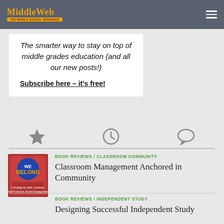MiddleWeb – The smarter way to stay on top of middle grades education
The smarter way to stay on top of middle grades education (and all our new posts!)

Subscribe here – it's free!
[Figure (infographic): Row of three icons: star, clock, speech bubble]
BOOK REVIEWS / CLASSROOM COMMUNITY
[Figure (photo): Book cover: We Belong – Classroom Management Anchored in Community]
Classroom Management Anchored in Community
BOOK REVIEWS / INDEPENDENT STUDY
Designing Successful Independent Study